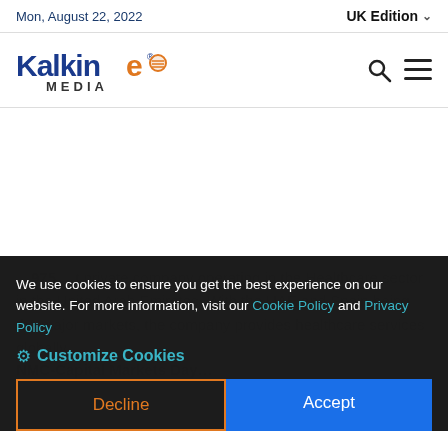Mon, August 22, 2022   UK Edition
[Figure (logo): Kalkine Media logo — blue 'Kalkine' text with orange 'e' and orange circular media icon, 'MEDIA' below in dark text]
We use cookies to ensure you get the best experience on our website. For more information, visit our Cookie Policy and Privacy Policy
⚙ Customize Cookies
...975 ...t private company operating in the Healthcare sector in the United Arab Emirates. With the UAE and Spain being the major markets, the company provides healthcare services globally...
NMC-Capital Markets Day...
Decline
Accept